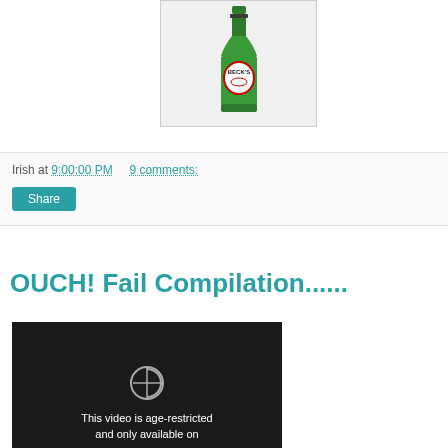[Figure (photo): A green Beck's beer bottle against a white/grey background, shown in a bordered image frame]
Irish at 9:00:00 PM    9 comments:
[Figure (other): Share button - teal rounded rectangle]
OUCH! Fail Compilation......
[Figure (screenshot): Dark video thumbnail showing 'This video is age-restricted and only available on' text with a loading/restricted icon]